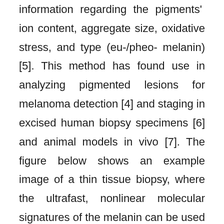information regarding the pigments' ion content, aggregate size, oxidative stress, and type (eu-/pheo- melanin) [5]. This method has found use in analyzing pigmented lesions for melanoma detection [4] and staging in excised human biopsy specimens [6] and animal models in vivo [7]. The figure below shows an example image of a thin tissue biopsy, where the ultrafast, nonlinear molecular signatures of the melanin can be used to identify cancerous (melanoma) regions.